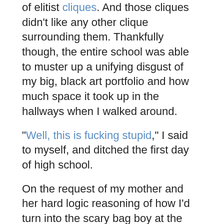of elitist cliques. And those cliques didn't like any other clique surrounding them. Thankfully though, the entire school was able to muster up a unifying disgust of my big, black art portfolio and how much space it took up in the hallways when I walked around.
"Well, this is fucking stupid," I said to myself, and ditched the first day of high school.
On the request of my mother and her hard logic reasoning of how I'd turn into the scary bag boy at the corner deli sans a high school education, I went back to that place. That big, stupid stone building full of overly pretentious douche bags.